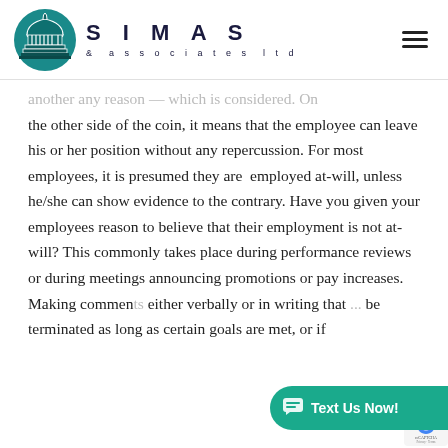SIMAS & associates ltd
another any reason — which is considered. On the other side of the coin, it means that the employee can leave his or her position without any repercussion. For most employees, it is presumed they are employed at-will, unless he/she can show evidence to the contrary. Have you given your employees reason to believe that their employment is not at-will? This commonly takes place during performance reviews or during meetings announcing promotions or pay increases. Making comments either verbally or in writing that ... be terminated as long as certain goals are met, or if ...